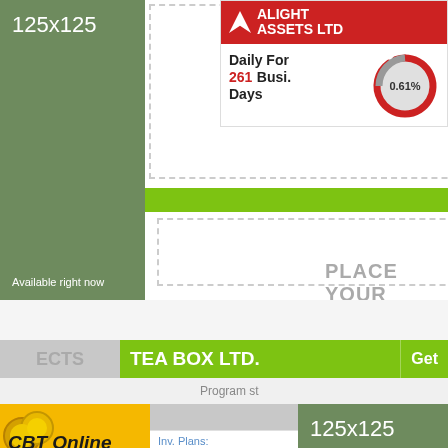[Figure (infographic): 125x125 ad placeholder, green background, 'Available right now' text]
[Figure (infographic): Banner ad placeholder with dashed border and 'PLACE' text]
[Figure (infographic): Alight Assets Ltd investment card showing Daily For 261 Business Days at 0.61%]
[Figure (infographic): Large banner ad placeholder with dashed border and 'PLACE YOUR' text]
« Go Back
TEA BOX LTD.
ECTS
Get
Program st
[Figure (infographic): CBT Online since 2014 advertisement, yellow/black, citybuildtrade.com]
[Figure (infographic): 125x125 ad placeholder bottom right, green background, 'Available right now']
Inv. Plans: